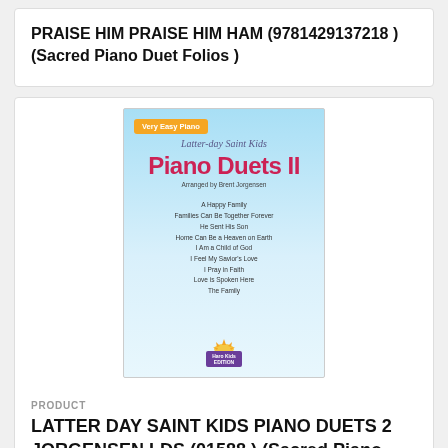PRAISE HIM PRAISE HIM HAM (9781429137218 ) (Sacred Piano Duet Folios )
[Figure (illustration): Book cover for Latter-day Saint Kids Piano Duets II arranged by Brent Jorgensen. Light blue gradient background. Orange badge top-left reads 'Very Easy Piano'. Italic script reads 'Latter-day Saint Kids'. Large red bold title 'Piano Duets II'. Song list includes: A Happy Family, Families Can Be Together Forever, He Sent His Son, Home Can Be a Heaven on Earth, I Am a Child of God, I Feel My Savior's Love, I Pray in Faith, Love is Spoken Here, The Family. Publisher logo at bottom.]
PRODUCT
LATTER DAY SAINT KIDS PIANO DUETS 2 JORGENSEN LDS (01588 ) (Sacred Piano Duet Folios )